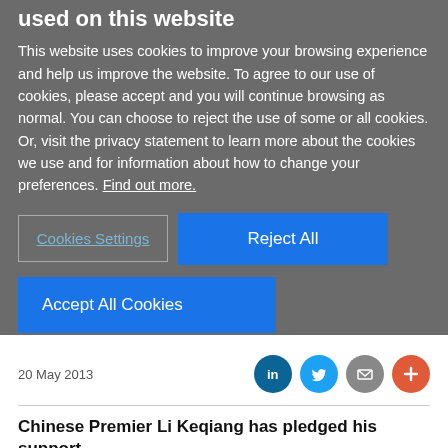used on this website
This website uses cookies to improve your browsing experience and help us improve the website. To agree to our use of cookies, please accept and you will continue browsing as normal. You can choose to reject the use of some or all cookies. Or, visit the privacy statement to learn more about the cookies we use and for information about how to change your preferences. Find out more.
Cookies Settings
Reject All
Accept All Cookies
20 May 2013
Chinese Premier Li Keqiang has pledged his support